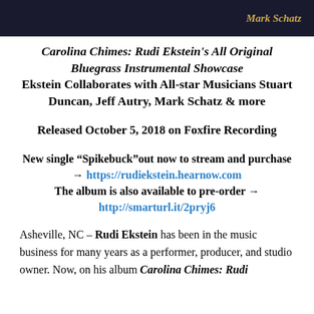Mark Schatz
Carolina Chimes: Rudi Ekstein's All Original Bluegrass Instrumental Showcase
Ekstein Collaborates with All-star Musicians Stuart Duncan, Jeff Autry, Mark Schatz & more
Released October 5, 2018 on Foxfire Recording
New single “Spikebuck”out now to stream and purchase → https://rudiekstein.hearnow.com
The album is also available to pre-order →
http://smarturl.it/2pryj6
Asheville, NC – Rudi Ekstein has been in the music business for many years as a performer, producer, and studio owner. Now, on his album Carolina Chimes: Rudi